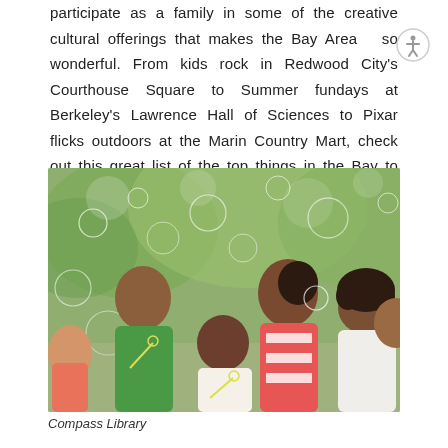participate as a family in some of the creative cultural offerings that makes the Bay Area so wonderful. From kids rock in Redwood City's Courthouse Square to Summer fundays at Berkeley's Lawrence Hall of Sciences to Pixar flicks outdoors at the Marin Country Mart, check out this great list of the top things in the Bay to do with your kids this summer.
[Figure (photo): Children blowing bubbles outdoors in a sunny park setting. Multiple kids of different ethnicities are shown blowing bubbles with wands, with green trees blurred in the background.]
Compass Library